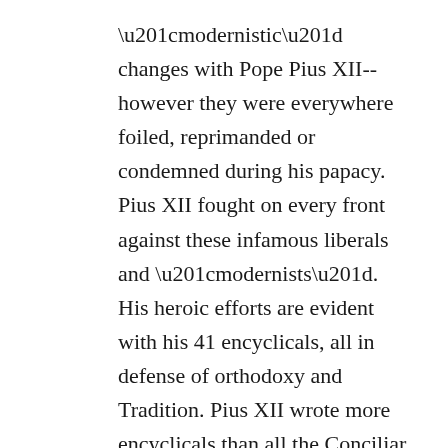“modernistic” changes with Pope Pius XII-- however they were everywhere foiled, reprimanded or condemned during his papacy. Pius XII fought on every front against these infamous liberals and “modernists”. His heroic efforts are evident with his 41 encyclicals, all in defense of orthodoxy and Tradition. Pius XII wrote more encyclicals than all the Conciliar popes together in the last 50 years!
This liberal affront was non-stop throughout the papacy of John Paul II who dabbled in all kinds of ecu-maniacal “firsts”. From visits to synagogues—never done by popes preceding